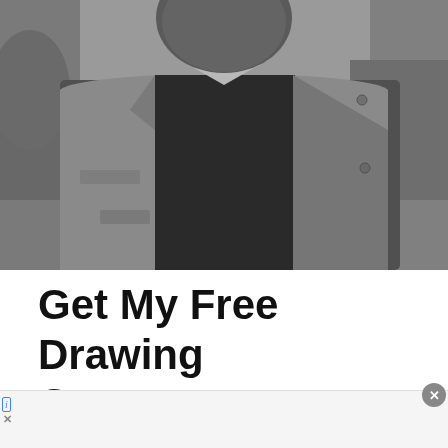[Figure (photo): Black and white photograph of an older man from torso up, wearing a jacket over a dark sweater and checkered collared shirt, photographed outdoors]
Get My Free Drawing Course
[Figure (screenshot): Advertisement bar at bottom: restaurant ad showing logo, checkmark items 'Dine-in' and 'Curbside pickup', and navigation arrow icon]